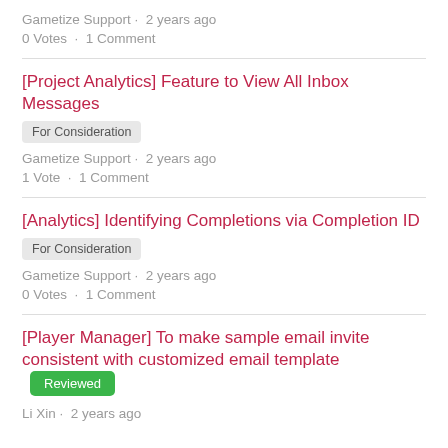Gametize Support · 2 years ago
0 Votes · 1 Comment
[Project Analytics] Feature to View All Inbox Messages
For Consideration
Gametize Support · 2 years ago
1 Vote · 1 Comment
[Analytics] Identifying Completions via Completion ID
For Consideration
Gametize Support · 2 years ago
0 Votes · 1 Comment
[Player Manager] To make sample email invite consistent with customized email template
Reviewed
Li Xin · 2 years ago